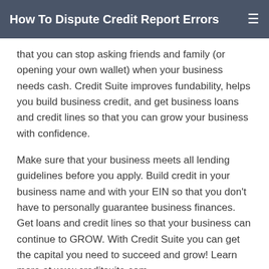How To Dispute Credit Report Errors
that you can stop asking friends and family (or opening your own wallet) when your business needs cash. Credit Suite improves fundability, helps you build business credit, and get business loans and credit lines so that you can grow your business with confidence.
Make sure that your business meets all lending guidelines before you apply. Build credit in your business name and with your EIN so that you don’t have to personally guarantee business finances. Get loans and credit lines so that your business can continue to GROW. With Credit Suite you can get the capital you need to succeed and grow! Learn more at www.creditsuite.com
Go To YouTube Channel